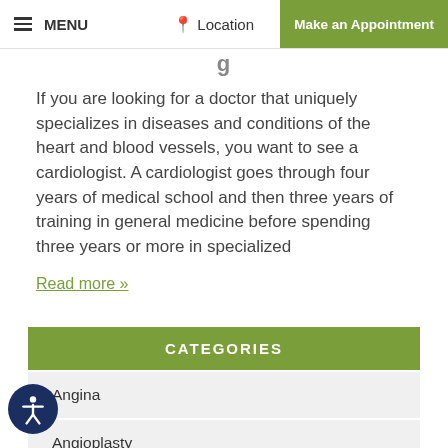≡ MENU   📍 Location   Make an Appointment
If you are looking for a doctor that uniquely specializes in diseases and conditions of the heart and blood vessels, you want to see a cardiologist. A cardiologist goes through four years of medical school and then three years of training in general medicine before spending three years or more in specialized
Read more »
| CATEGORIES |
| --- |
| Angina |
| Angioplasty |
| Cardiomyopathy |